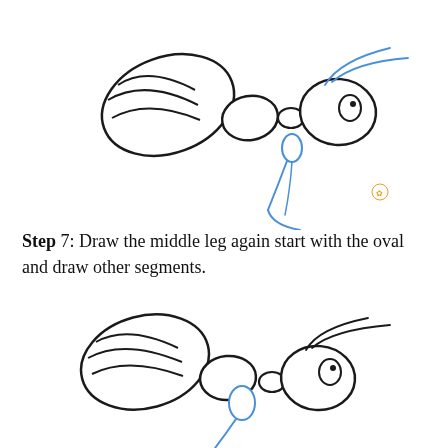[Figure (illustration): Step-by-step drawing tutorial showing an ant viewed from the side. Top illustration: ant body with striped abdomen (dark outlines), thorax segments, and head with eye visible. Blue lines indicate the middle leg being drawn — an oval joint and two curved leg segments extending downward and to the right. Antennae shown in blue extending from head. A small orange/gold watermark icon appears at lower right of this illustration.]
Step 7: Draw the middle leg again start with the oval and draw other segments.
[Figure (illustration): Second (lower) illustration of the same ant drawing in progress. The ant body is shown with striped abdomen, thorax, and head with eye. Blue lines show the middle leg being added with an oval at the joint and curved leg segments. The leg is partially visible at bottom of frame.]